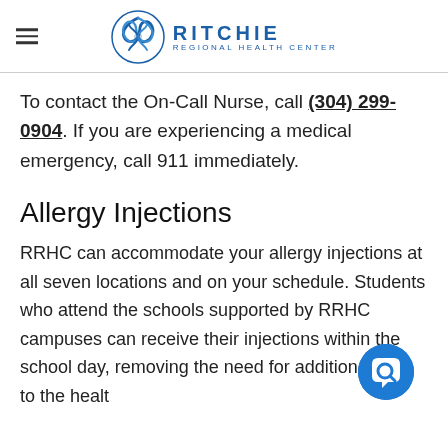RITCHIE REGIONAL HEALTH CENTER
To contact the On-Call Nurse, call (304) 299-0904. If you are experiencing a medical emergency, call 911 immediately.
Allergy Injections
RRHC can accommodate your allergy injections at all seven locations and on your schedule. Students who attend the schools supported by RRHC campuses can receive their injections within the school day, removing the need for additional trips to the health